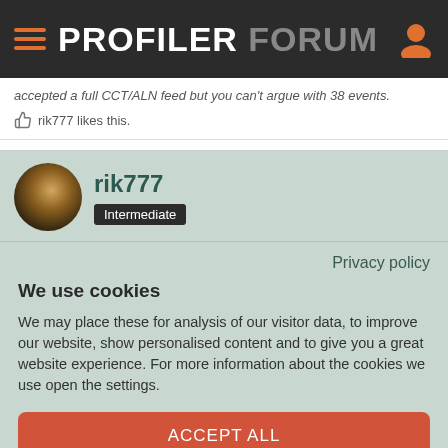PROFILER FORUM
accepted a full CCT/ALN feed but you can't argue with 38 events.
rik777 likes this.
rik777 Intermediate
Privacy policy
We use cookies
We may place these for analysis of our visitor data, to improve our website, show personalised content and to give you a great website experience. For more information about the cookies we use open the settings.
ACCEPT ALL
DENY
NO, ADJUST